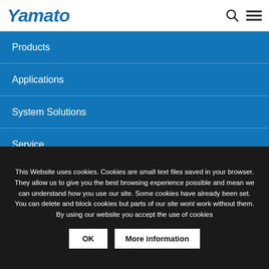Yamato
Products
Applications
System Solutions
Service
Company
Media
Contact us
This Website uses cookies. Cookies are small text files saved in your browser. They allow us to give you the best browsing experience possible and mean we can understand how you use our site. Some cookies have already been set. You can delete and block cookies but parts of our site wont work without them. By using our website you accept the use of cookies
OK
More information